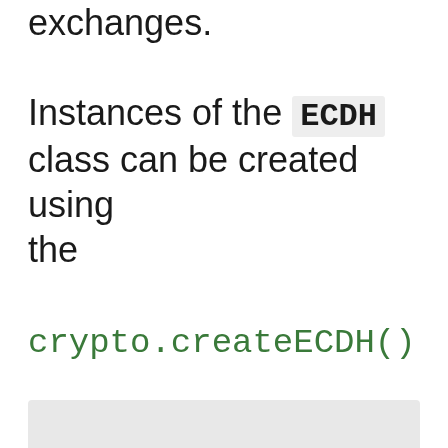exchanges.
Instances of the ECDH class can be created using the crypto.createECDH() function.